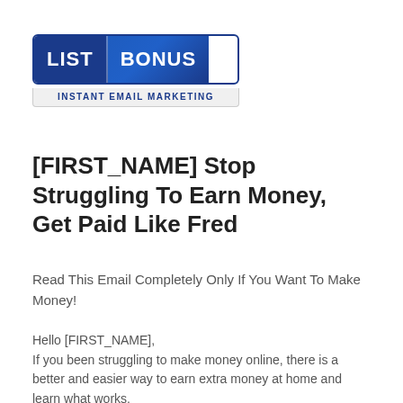[Figure (logo): LIST BONUS - Instant Email Marketing logo badge with blue background]
[FIRST_NAME] Stop Struggling To Earn Money, Get Paid Like Fred
Read This Email Completely Only If You Want To Make Money!
Hello [FIRST_NAME],
If you been struggling to make money online, there is a better and easier way to earn extra money at home and learn what works.